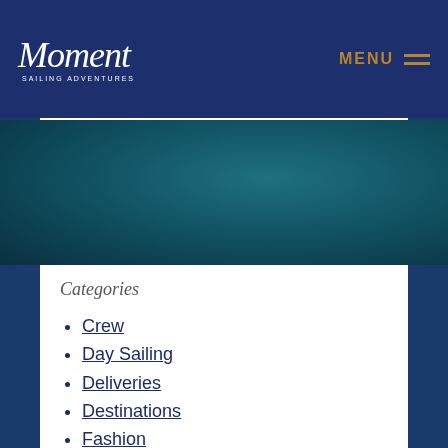Moment Sailing Adventures — MENU
Categories
Crew
Day Sailing
Deliveries
Destinations
Fashion
History
Kids
Maintenance
Merchandise